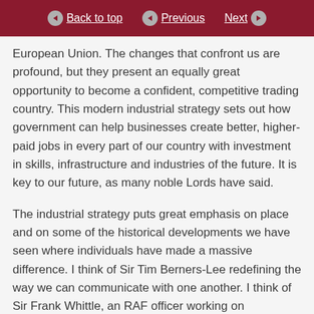Back to top | Previous | Next
European Union. The changes that confront us are profound, but they present an equally great opportunity to become a confident, competitive trading country. This modern industrial strategy sets out how government can help businesses create better, higher-paid jobs in every part of our country with investment in skills, infrastructure and industries of the future. It is key to our future, as many noble Lords have said.
The industrial strategy puts great emphasis on place and on some of the historical developments we have seen where individuals have made a massive difference. I think of Sir Tim Berners-Lee redefining the way we can communicate with one another. I think of Sir Frank Whittle, an RAF officer working on